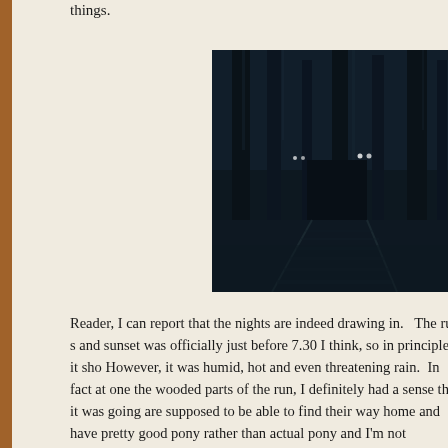things.
[Figure (photo): Dark forest scene showing shadowy figures with glowing eyes among trees at night, viewed from a railroad track]
Reader, I can report that the nights are indeed drawing in.   The run s and sunset was officially just before 7.30 I think, so in principle, it sho However, it was humid, hot and even threatening rain.  In fact at one the wooded parts of the run, I definitely had a sense that it was going are supposed to be able to find their way home and have pretty good pony rather than actual pony and I'm not altogether confident in his c a necessity to get back to base when the night closed in.  I mean he you can see, just not everything.